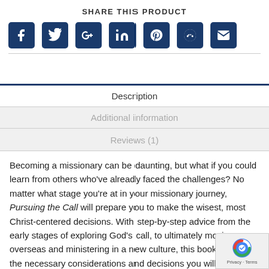SHARE THIS PRODUCT
[Figure (infographic): Row of social media sharing icons: Facebook, Twitter, Google+, LinkedIn, Pinterest, Reddit, Email — each in a dark blue rounded square]
[Figure (infographic): Tab navigation: Description (active), Additional information (inactive), Reviews (1) (inactive)]
Becoming a missionary can be daunting, but what if you could learn from others who've already faced the challenges? No matter what stage you're at in your missionary journey, Pursuing the Call will prepare you to make the wisest, most Christ-centered decisions. With step-by-step advice from the early stages of exploring God's call, to ultimately moving overseas and ministering in a new culture, this book details the necessary considerations and decisions you will need to